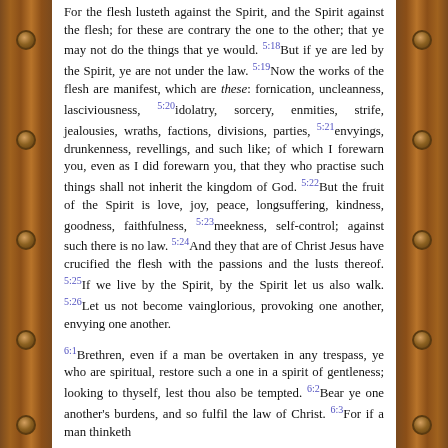For the flesh lusteth against the Spirit, and the Spirit against the flesh; for these are contrary the one to the other; that ye may not do the things that ye would. 5:18But if ye are led by the Spirit, ye are not under the law. 5:19Now the works of the flesh are manifest, which are these: fornication, uncleanness, lasciviousness, 5:20idolatry, sorcery, enmities, strife, jealousies, wraths, factions, divisions, parties, 5:21envyings, drunkenness, revellings, and such like; of which I forewarn you, even as I did forewarn you, that they who practise such things shall not inherit the kingdom of God. 5:22But the fruit of the Spirit is love, joy, peace, longsuffering, kindness, goodness, faithfulness, 5:23meekness, self-control; against such there is no law. 5:24And they that are of Christ Jesus have crucified the flesh with the passions and the lusts thereof. 5:25If we live by the Spirit, by the Spirit let us also walk. 5:26Let us not become vainglorious, provoking one another, envying one another.
6:1Brethren, even if a man be overtaken in any trespass, ye who are spiritual, restore such a one in a spirit of gentleness; looking to thyself, lest thou also be tempted. 6:2Bear ye one another's burdens, and so fulfil the law of Christ. 6:3For if a man thinketh